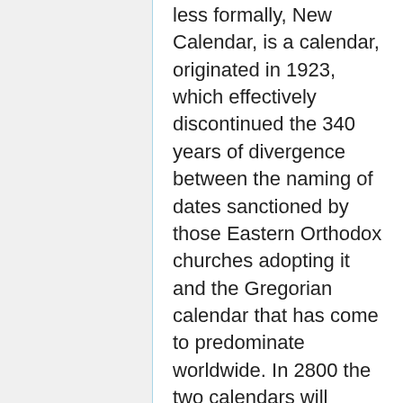less formally, New Calendar, is a calendar, originated in 1923, which effectively discontinued the 340 years of divergence between the naming of dates sanctioned by those Eastern Orthodox churches adopting it and the Gregorian calendar that has come to predominate worldwide. In 2800 the two calendars will diverge again, though more slowly than the Julian and Gregorian do. This calendar replaced the Ecclesiastical Calendar based on the Julian Calendar in use by the Eastern Orthodox Church since the first Ecumenical Council of Nicea in 325 AD.[1] The Revised Julian Calendar aligned its dates with